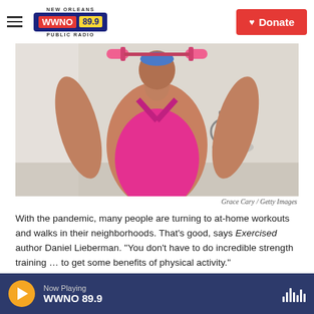NEW ORLEANS WWNO 89.9 PUBLIC RADIO | Donate
[Figure (photo): Person seen from behind, wearing a pink racerback tank top and blue headband, holding pink dumbbells overhead. An exercise bike is visible in the background.]
Grace Cary / Getty Images
With the pandemic, many people are turning to at-home workouts and walks in their neighborhoods. That's good, says Exercised author Daniel Lieberman. "You don't have to do incredible strength training … to get some benefits of physical activity."
For much of history, human beings needed to be
Now Playing WWNO 89.9